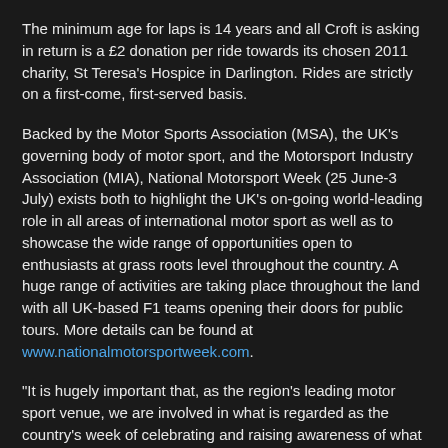The minimum age for laps is 14 years and all Croft is asking in return is a £2 donation per ride towards its chosen 2011 charity, St Teresa's Hospice in Darlington. Rides are strictly on a first-come, first-served basis.
Backed by the Motor Sports Association (MSA), the UK's governing body of motor sport, and the Motorsport Industry Association (MIA), National Motorsport Week (25 June-3 July) exists both to highlight the UK's on-going world-leading role in all areas of international motor sport as well as to showcase the wide range of opportunities open to enthusiasts at grass roots level throughout the country. A huge range of activities are taking place throughout the land with all UK-based F1 teams opening their doors for public tours. More details can be found at www.nationalmotorsportweek.com.
“It is hugely important that, as the region's leading motor sport venue, we are involved in what is regarded as the country's week of celebrating and raising awareness of what the sport gives back to people in terms of entertainment, inspiration for youngsters, job creation and even advancements in science. Motor sport is one of Britain’s most successful industries after all,” commented Tracey Morley, Croft Circuit Manager.
“It is one of...